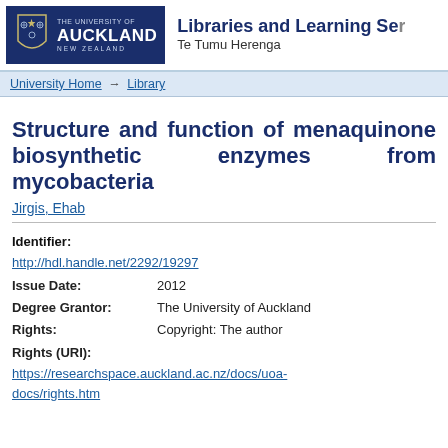[Figure (logo): University of Auckland logo with navy blue background, shield emblem, text THE UNIVERSITY OF AUCKLAND NEW ZEALAND, alongside Libraries and Learning Services / Te Tumu Herenga header]
Libraries and Learning Services
Te Tumu Herenga
University Home → Library
Structure and function of menaquinone biosynthetic enzymes from mycobacteria
Jirgis, Ehab
Identifier:
http://hdl.handle.net/2292/19297
Issue Date: 2012
Degree Grantor: The University of Auckland
Rights: Copyright: The author
Rights (URI):
https://researchspace.auckland.ac.nz/docs/uoa-docs/rights.htm